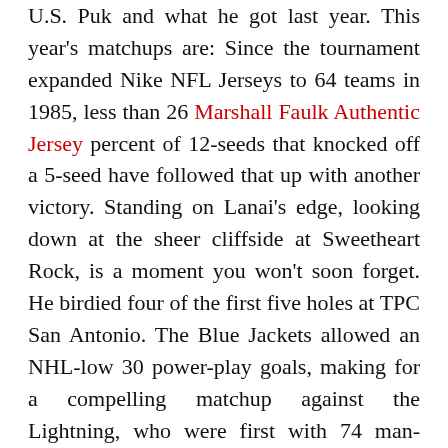U.S. Puk and what he got last year. This year's matchups are: Since the tournament expanded Nike NFL Jerseys to 64 teams in 1985, less than 26 Marshall Faulk Authentic Jersey percent of 12-seeds that knocked off a 5-seed have followed that up with another victory. Standing on Lanai's edge, looking down at the sheer cliffside at Sweetheart Rock, is a moment you won't soon forget. He birdied four of the first five holes at TPC San Antonio. The Blue Jackets allowed an NHL-low 30 power-play goals, making for a compelling matchup against the Lightning, who were first with 74 man-advantage goals.
will not be available until after the Christmas break, Sean Shapiro of The Athletic reports. Galley Bay Resort also notably has a natural bird sanctuary where guests can visit beautiful creatures residing on the island, such as herons, pelicans and frigate birds. Plus, kids have